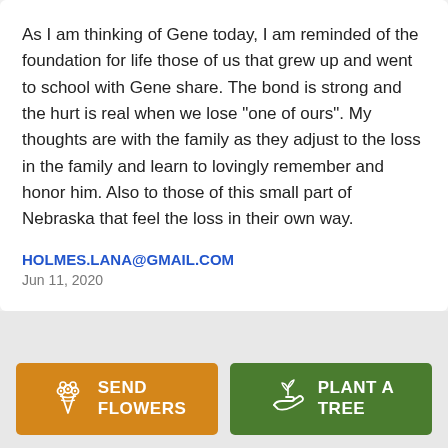As I am thinking of Gene today, I am reminded of the foundation for life those of us that grew up and went to school with Gene share.  The bond is strong and the hurt is real when we lose "one of ours".  My thoughts are with the family as they adjust to the loss in the family and learn to lovingly remember and honor him.  Also to those of this small part of Nebraska that feel the loss in their own way.
HOLMES.LANA@GMAIL.COM
Jun 11, 2020
[Figure (infographic): Two buttons side by side on a grey background: an orange 'SEND FLOWERS' button with a flower bouquet icon, and a green 'PLANT A TREE' button with a plant/hand icon.]